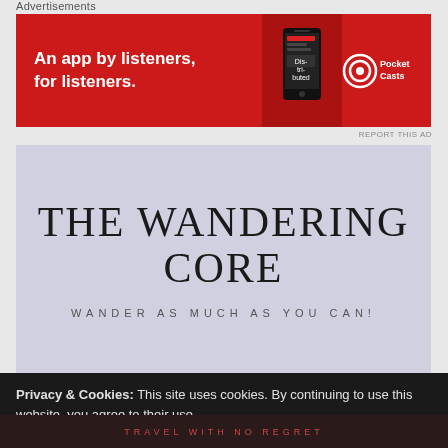Advertisements
[Figure (photo): Red advertisement banner for Pocket Casts app: 'An app by listeners, for listeners.' with phone graphic and Pocket Casts logo on right]
REPORT THIS AD
THE WANDERING CORE
WANDER AS MUCH AS YOU CAN!
Privacy & Cookies: This site uses cookies. By continuing to use this website, you agree to their use. To find out more, including how to control cookies, see here: Cookie Policy
Alright
TRAVEL WITH NO REGRET